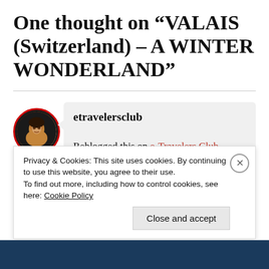One thought on “VALAIS (Switzerland) – A WINTER WONDERLAND”
[Figure (photo): Circular avatar photo of a person with a red border, dark background]
etravelersclub
Reblogged this on e-Travelers Club Travel
Privacy & Cookies: This site uses cookies. By continuing to use this website, you agree to their use.
To find out more, including how to control cookies, see here: Cookie Policy
Close and accept